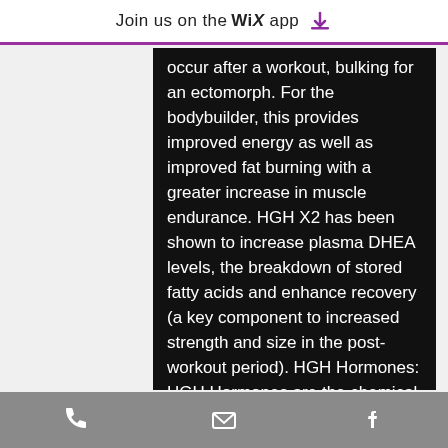Join us on the WiX app
occur after a workout, bulking for an ectomorph. For the bodybuilder, this provides improved energy as well as improved fat burning with a greater increase in muscle endurance. HGH X2 has been shown to increase plasma DHEA levels, the breakdown of stored fatty acids and enhance recovery (a key component to increased strength and size in the post-workout period). HGH Hormones: HGH Hormones are the chemical messengers that are released by the pituitary gland to regulate the levels of hormones in the body, hgh x2. It has been shown that HGH Hormones enhance muscle protein accretion, speed recovery from exercise (particularly muscle damage and soreness induced by exercise) and stimulate the growth of new muscle
phone | email | facebook